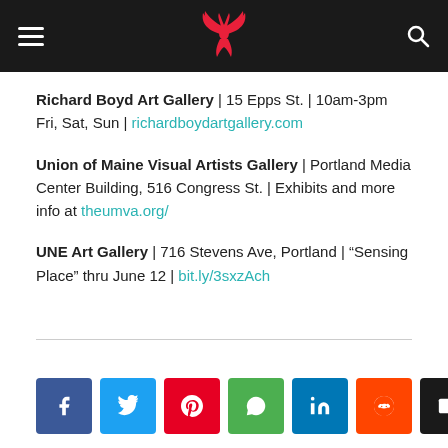Navigation header with hamburger menu, phoenix logo, and search icon
Richard Boyd Art Gallery | 15 Epps St. | 10am-3pm Fri, Sat, Sun | richardboydartgallery.com
Union of Maine Visual Artists Gallery | Portland Media Center Building, 516 Congress St. | Exhibits and more info at theumva.org/
UNE Art Gallery | 716 Stevens Ave, Portland | “Sensing Place” thru June 12 | bit.ly/3sxzAch
[Figure (infographic): Social sharing buttons row: Facebook, Twitter, Pinterest, WhatsApp, LinkedIn, Reddit, Email]